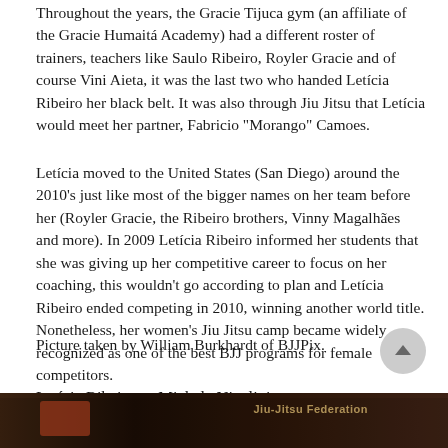Throughout the years, the Gracie Tijuca gym (an affiliate of the Gracie Humaitá Academy) had a different roster of trainers, teachers like Saulo Ribeiro, Royler Gracie and of course Vini Aieta, it was the last two who handed Letícia Ribeiro her black belt. It was also through Jiu Jitsu that Letícia would meet her partner, Fabricio "Morango" Camoes.
Letícia moved to the United States (San Diego) around the 2010's just like most of the bigger names on her team before her (Royler Gracie, the Ribeiro brothers, Vinny Magalhães and more). In 2009 Letícia Ribeiro informed her students that she was giving up her competitive career to focus on her coaching, this wouldn't go according to plan and Letícia Ribeiro ended competing in 2010, winning another world title. Nonetheless, her women's Jiu Jitsu camp became widely recognized as one of the best BJJ programs for female competitors.
Picture taken by William Burkhardt of BJJPix.
Letícia Ribeiro vs Michele Nicolini
[Figure (photo): Partial bottom strip of a photo showing a Jiu Jitsu match, dark background with some text visible including 'Jiu-Jitsu Federation']